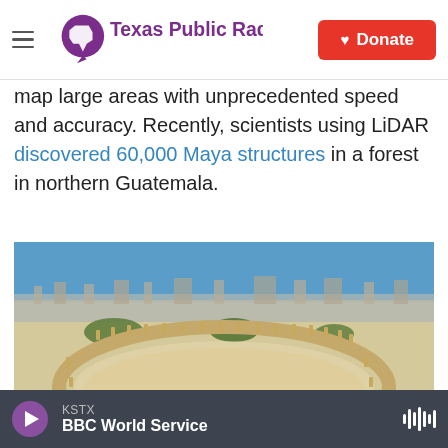Texas Public Radio | Donate
map large areas with unprecedented speed and accuracy. Recently, scientists using LiDAR discovered 60,000 Maya structures in a forest in northern Guatemala.
[Figure (photo): Aerial view of ancient Roman ruins (oval plaza/forum) in the foreground with a modern city and blue sky in the background, likely Jerash, Jordan.]
KSTX | BBC World Service